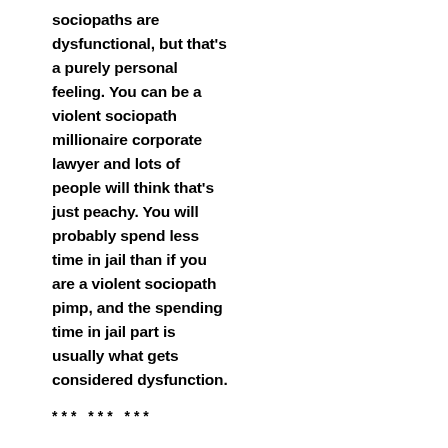sociopaths are dysfunctional, but that's a purely personal feeling. You can be a violent sociopath millionaire corporate lawyer and lots of people will think that's just peachy. You will probably spend less time in jail than if you are a violent sociopath pimp, and the spending time in jail part is usually what gets considered dysfunction.
*** *** ***